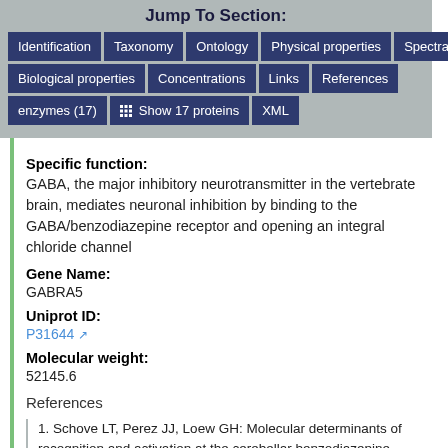Jump To Section:
Identification | Taxonomy | Ontology | Physical properties | Spectra
Biological properties | Concentrations | Links | References
enzymes (17) | Show 17 proteins | XML
Specific function:
GABA, the major inhibitory neurotransmitter in the vertebrate brain, mediates neuronal inhibition by binding to the GABA/benzodiazepine receptor and opening an integral chloride channel
Gene Name:
GABRA5
Uniprot ID:
P31644
Molecular weight:
52145.6
References
1. Schove LT, Perez JJ, Loew GH: Molecular determinants of recognition and activation at the cerebellar benzodiazepine receptor.